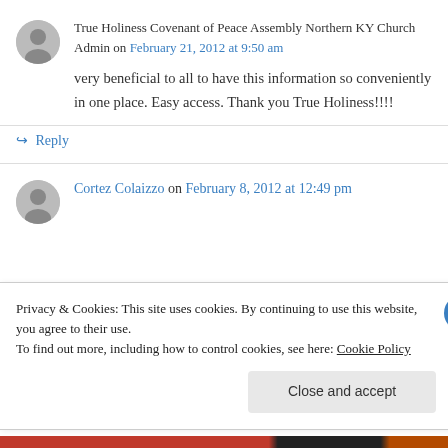True Holiness Covenant of Peace Assembly Northern KY Church Admin on February 21, 2012 at 9:50 am
very beneficial to all to have this information so conveniently in one place. Easy access. Thank you True Holiness!!!!
↳ Reply
Cortez Colaizzo on February 8, 2012 at 12:49 pm
Privacy & Cookies: This site uses cookies. By continuing to use this website, you agree to their use. To find out more, including how to control cookies, see here: Cookie Policy
Close and accept